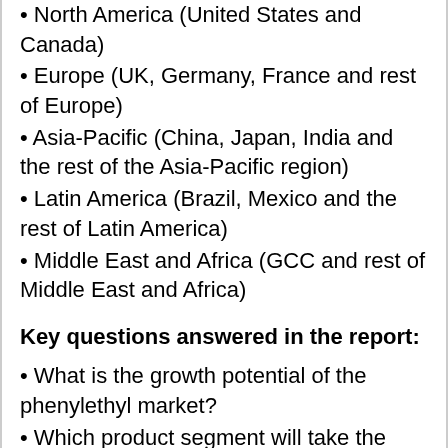• North America (United States and Canada)
• Europe (UK, Germany, France and rest of Europe)
• Asia-Pacific (China, Japan, India and the rest of the Asia-Pacific region)
• Latin America (Brazil, Mexico and the rest of Latin America)
• Middle East and Africa (GCC and rest of Middle East and Africa)
Key questions answered in the report:
• What is the growth potential of the phenylethyl market?
• Which product segment will take the lion's share?
• Which regional market will emerge as a pioneer in the years to come?
• Which application segment will experience